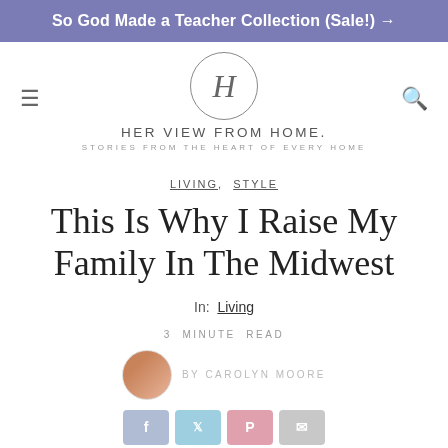So God Made a Teacher Collection (Sale!) →
[Figure (logo): Her View From Home logo with H in circle, text HERVIEW FROM HOME, subtitle STORIES FROM THE HEART OF EVERY HOME]
LIVING, STYLE
This Is Why I Raise My Family In The Midwest
In: Living
3 MINUTE READ
BY CAROLYN MOORE